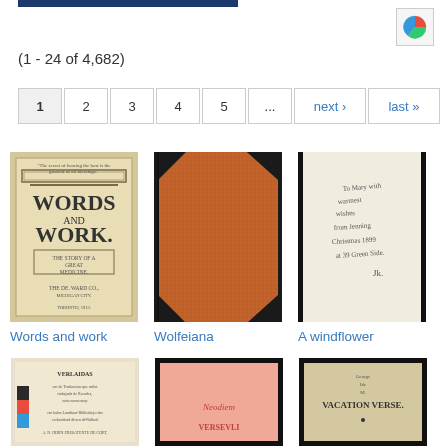(1 - 24 of 4,682)
Pagination: 1 2 3 4 5 ... next › last »
[Figure (photo): Book cover: Words and Work]
Words and work
[Figure (photo): Book cover: Wolfeiana - red/brown textured binding]
Wolfeiana
[Figure (photo): Book cover: A windflower - handwritten inscription page]
A windflower
[Figure (photo): Book cover: Verlaidas - foreign language text]
[Figure (photo): Book cover: Versevli - pink cover]
[Figure (photo): Book cover: Vacation Verse - beige cover]